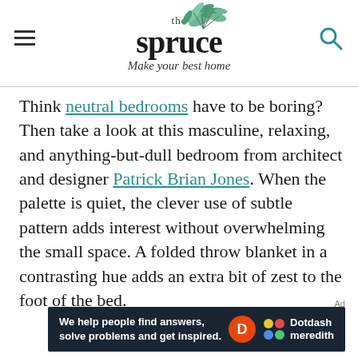the spruce — Make your best home
Think neutral bedrooms have to be boring? Then take a look at this masculine, relaxing, and anything-but-dull bedroom from architect and designer Patrick Brian Jones. When the palette is quiet, the clever use of subtle pattern adds interest without overwhelming the small space. A folded throw blanket in a contrasting hue adds an extra bit of zest to the foot of the bed.
[Figure (other): Dotdash Meredith advertisement banner: 'We help people find answers, solve problems and get inspired.']